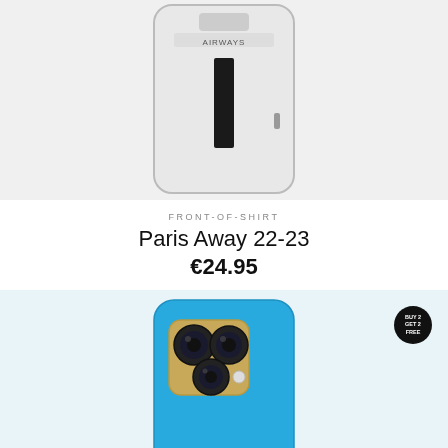[Figure (photo): White phone case with Airways branding and black stripe design, photographed on white background]
FRONT-OF-SHIRT
Paris Away 22-23
€24.95
[Figure (photo): Blue phone case showing camera module area, photographed on light background, with a Buy 2 Get 2 Free badge in top right corner]